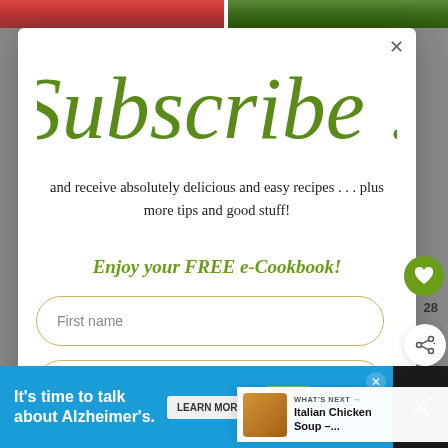[Figure (screenshot): Two food photos at the top of the page, partially visible behind a modal dialog]
Subscribe !
and receive absolutely delicious and easy recipes . . . plus more tips and good stuff!
Enjoy your FREE e-Cookbook!
First name
Email address
WHAT'S NEXT → Italian Chicken Soup –...
It's time to talk about Alzheimer's.
LEARN MORE
28